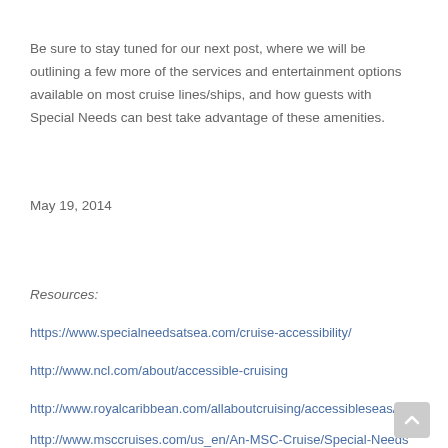Be sure to stay tuned for our next post, where we will be outlining a few more of the services and entertainment options available on most cruise lines/ships, and how guests with Special Needs can best take advantage of these amenities.
May 19, 2014
Resources:
https://www.specialneedsatsea.com/cruise-accessibility/
http://www.ncl.com/about/accessible-cruising
http://www.royalcaribbean.com/allaboutcruising/accessibleseas/home
http://www.msccruises.com/us_en/An-MSC-Cruise/Special-Needs